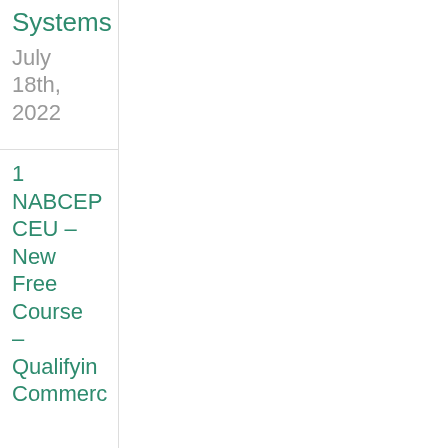Systems
July 18th, 2022
1 NABCEP CEU – New Free Course – Qualifying Commerc…